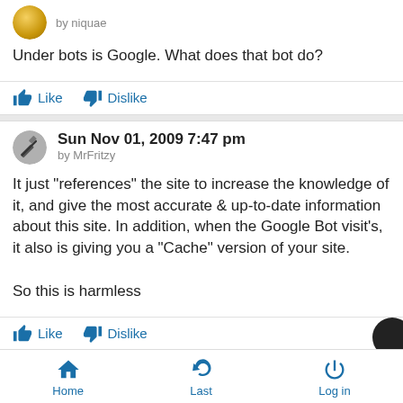by niquae
Under bots is Google. What does that bot do?
Like   Dislike
Sun Nov 01, 2009 7:47 pm
by MrFritzy
It just "references" the site to increase the knowledge of it, and give the most accurate & up-to-date information about this site. In addition, when the Google Bot visit's, it also is giving you a "Cache" version of your site.

So this is harmless
Like   Dislike
Home   Last   Log in